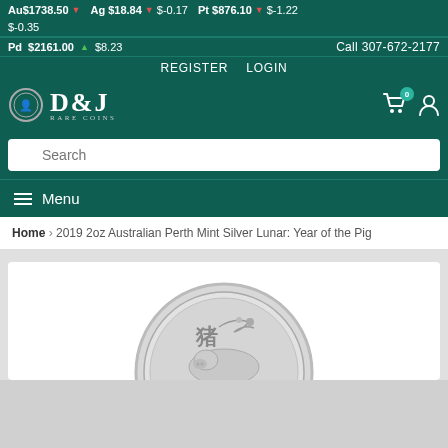Au$1738.50 ▼ $-0.35   Ag $18.84 ▼ $-0.17   Pt $876.10 ▼ $-1.22   Pd $2161.00 ▲ $8.23   Call 307-672-2177
REGISTER   LOGIN
[Figure (logo): D&J Rare Coins logo with coin medallion icon]
Search
≡ Menu
Home › 2019 2oz Australian Perth Mint Silver Lunar: Year of the Pig
[Figure (photo): Silver coin - 2019 2oz Australian Perth Mint Silver Lunar: Year of the Pig. Coin shows a pig with Chinese character 猪 and floral branch design.]